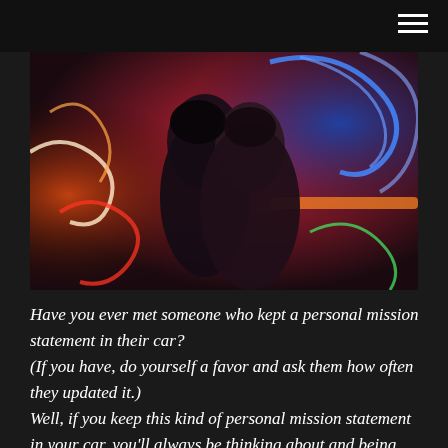[Figure (photo): A couple leaning close together, nearly kissing, in front of colorful neon lights with red, orange, blue, and green glowing signs in the background.]
Have you ever met someone who kept a personal mission statement in their car?
(If you have, do yourself a favor and ask them how often they updated it.)
Well, if you keep this kind of personal mission statement in your car, you'll always be thinking about and being interested